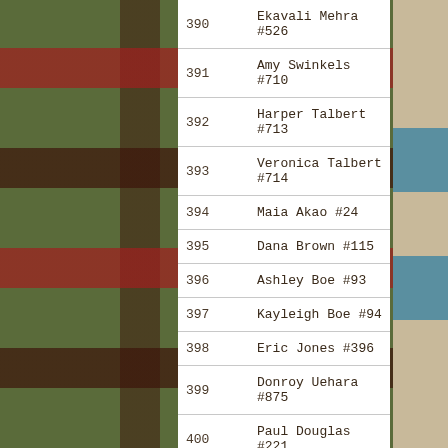| # | Name |
| --- | --- |
| 390 | Ekavali Mehra #526 |
| 391 | Amy Swinkels #710 |
| 392 | Harper Talbert #713 |
| 393 | Veronica Talbert #714 |
| 394 | Maia Akao #24 |
| 395 | Dana Brown #115 |
| 396 | Ashley Boe #93 |
| 397 | Kayleigh Boe #94 |
| 398 | Eric Jones #396 |
| 399 | Donroy Uehara #875 |
| 400 | Paul Douglas #221 |
| 401 | Marcie Davis #191 |
| 402 | Sabrina Turner #742 |
| 403 | Sharon Loftin #840 |
| 404 | Loreana Glamuzina #287 |
| 405 | Noe Balanay #52 |